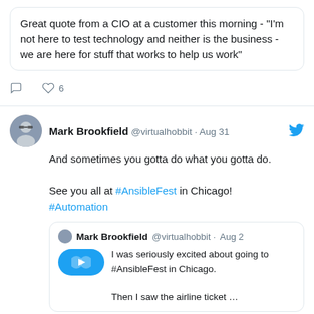Great quote from a CIO at a customer this morning - "I'm not here to test technology and neither is the business - we are here for stuff that works to help us work"
6 likes
Mark Brookfield @virtualhobbit · Aug 31
And sometimes you gotta do what you gotta do.

See you all at #AnsibleFest in Chicago!
#Automation
Mark Brookfield @virtualhobbit · Aug 2
I was seriously excited about going to #AnsibleFest in Chicago.

Then I saw the airline ticket …
2 replies, 3 likes